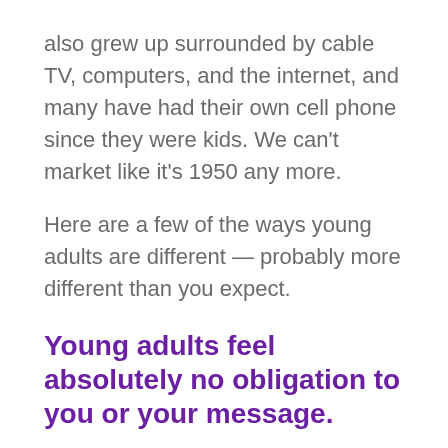also grew up surrounded by cable TV, computers, and the internet, and many have had their own cell phone since they were kids. We can't market like it's 1950 any more.
Here are a few of the ways young adults are different — probably more different than you expect.
Young adults feel absolutely no obligation to you or your message.
This is an important point — where someone over 40 might open or at least glance at your